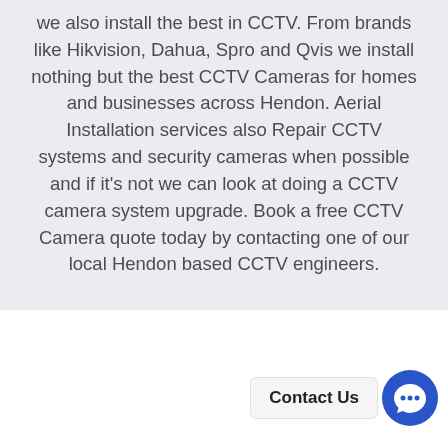we also install the best in CCTV. From brands like Hikvision, Dahua, Spro and Qvis we install nothing but the best CCTV Cameras for homes and businesses across Hendon. Aerial Installation services also Repair CCTV systems and security cameras when possible and if it's not we can look at doing a CCTV camera system upgrade. Book a free CCTV Camera quote today by contacting one of our local Hendon based CCTV engineers.
[Figure (other): Contact Us chat widget button with blue circular chat icon]